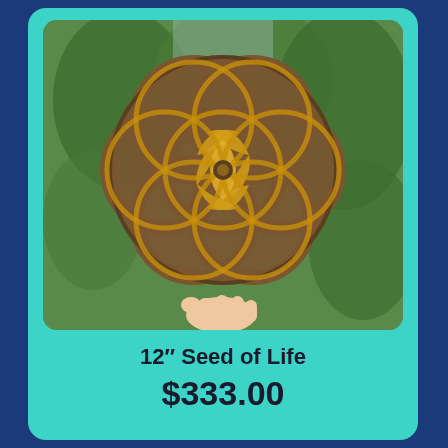[Figure (photo): A hand holding a large wooden Seed of Life sacred geometry piece with gold glitter highlights, photographed outdoors against green trees. The piece is a circular, flower-like geometric design with interlocking circles.]
12" Seed of Life
$333.00